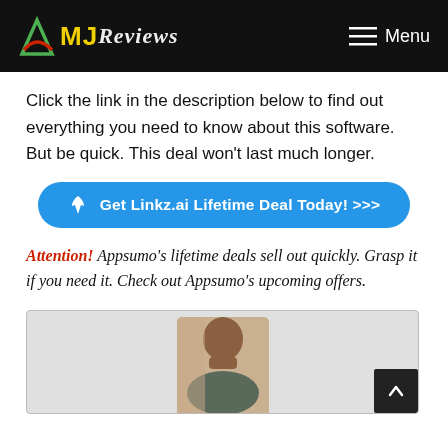MJ Reviews — Menu
Click the link in the description below to find out everything you need to know about this software. But be quick. This deal won't last much longer.
[Figure (other): Blue rounded CTA button: rocket icon followed by text 'Get Linkz.ai Lifetime Deal Today! >>>']
Attention! Appsumo's lifetime deals sell out quickly. Grasp it if you need it. Check out Appsumo's upcoming offers.
[Figure (photo): Photo of a person (man) looking upward, cropped at shoulders, placed inside a light grey box at the bottom of the page.]